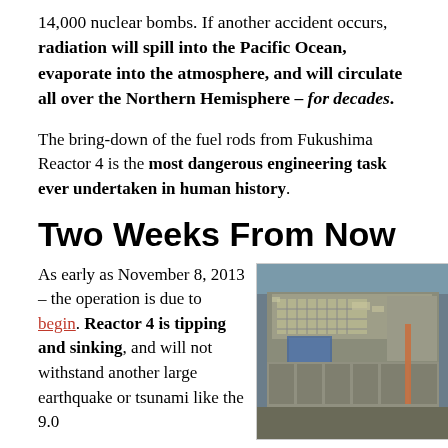14,000 nuclear bombs. If another accident occurs, radiation will spill into the Pacific Ocean, evaporate into the atmosphere, and will circulate all over the Northern Hemisphere – for decades.
The bring-down of the fuel rods from Fukushima Reactor 4 is the most dangerous engineering task ever undertaken in human history.
Two Weeks From Now
As early as November 8, 2013 – the operation is due to begin. Reactor 4 is tipping and sinking, and will not withstand another large earthquake or tsunami like the 9.0
[Figure (photo): Aerial view of Fukushima Reactor 4 showing damaged reactor building with debris on top, blue tarps, and structural damage visible from above.]